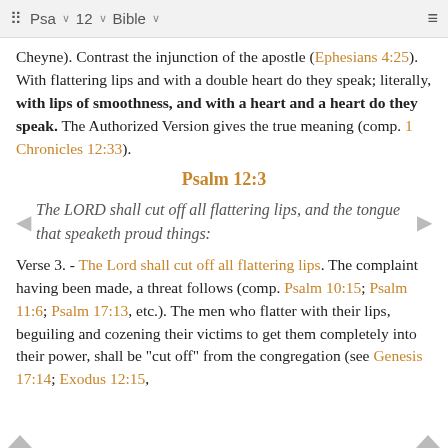⠿ Psa ∨ 12 ∨ Bible ∨ ≡
Cheyne). Contrast the injunction of the apostle (Ephesians 4:25). With flattering lips and with a double heart do they speak; literally, with lips of smoothness, and with a heart and a heart do they speak. The Authorized Version gives the true meaning (comp. 1 Chronicles 12:33).
Psalm 12:3
The LORD shall cut off all flattering lips, and the tongue that speaketh proud things:
Verse 3. - The Lord shall cut off all flattering lips. The complaint having been made, a threat follows (comp. Psalm 10:15; Psalm 11:6; Psalm 17:13, etc.). The men who flatter with their lips, beguiling and cozening their victims to get them completely into their power, shall be "cut off" from the congregation (see Genesis 17:14; Exodus 12:15,